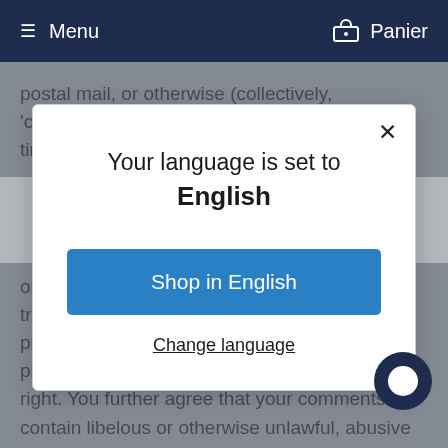Menu   Panier
postal mail, or otherwise (collectively, 'comments'), you agree that we may, at any time, without restriction, edit,
[Figure (screenshot): Modal dialog box with title 'Your language is set to English', a blue 'Shop in English' button, and a 'Change language' link. Has an X close button in the top right.]
or any third party, including copyright, trademark, privacy, personality or other personal or proprietary right. You further agree that your comments will not contain libelous or otherwise unlawful, abusive or obscene material, or contain any computer virus or